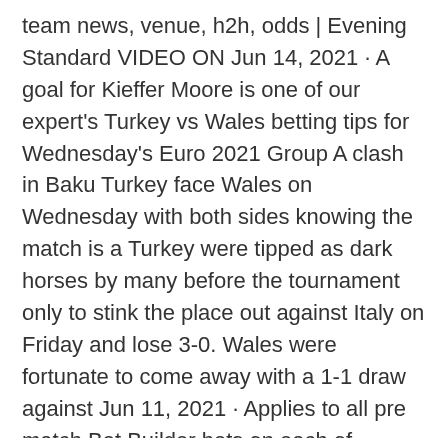team news, venue, h2h, odds | Evening Standard VIDEO ON Jun 14, 2021 · A goal for Kieffer Moore is one of our expert's Turkey vs Wales betting tips for Wednesday's Euro 2021 Group A clash in Baku Turkey face Wales on Wednesday with both sides knowing the match is a Turkey were tipped as dark horses by many before the tournament only to stink the place out against Italy on Friday and lose 3-0. Wales were fortunate to come away with a 1-1 draw against Jun 11, 2021 · Applies to all pre match Bet Builder bets on each of England's Euro 2020 group games only. Min 2+ legs. Must have previously deposited with a debit card, Apple Pay or Paysafe to avail of the offer. Many fans' dark horses for Euro 2020, Turkey were well and truly humbled by Italy · standard.co.uk - ales face a key Euro 2020 Group A clash against Turkey in Baku on